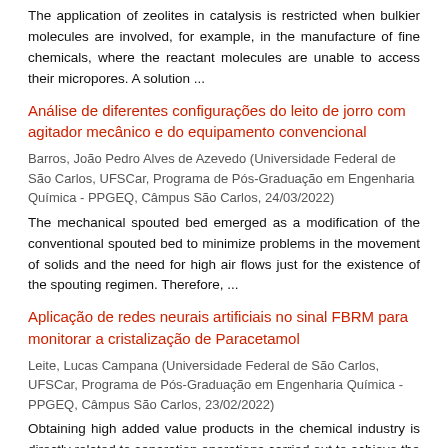The application of zeolites in catalysis is restricted when bulkier molecules are involved, for example, in the manufacture of fine chemicals, where the reactant molecules are unable to access their micropores. A solution ...
Análise de diferentes configurações do leito de jorro com agitador mecânico e do equipamento convencional
Barros, João Pedro Alves de Azevedo (Universidade Federal de São Carlos, UFSCar, Programa de Pós-Graduação em Engenharia Química - PPGEQ, Câmpus São Carlos, 24/03/2022)
The mechanical spouted bed emerged as a modification of the conventional spouted bed to minimize problems in the movement of solids and the need for high air flows just for the existence of the spouting regimen. Therefore, ...
Aplicação de redes neurais artificiais no sinal FBRM para monitorar a cristalização de Paracetamol
Leite, Lucas Campana (Universidade Federal de São Carlos, UFSCar, Programa de Pós-Graduação em Engenharia Química - PPGEQ, Câmpus São Carlos, 23/02/2022)
Obtaining high added value products in the chemical industry is directly related to separation operations carried out to achieve the